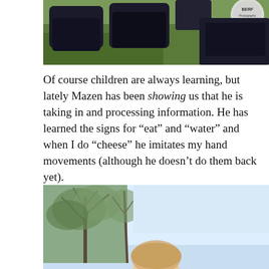[Figure (photo): Partial top view of what appears to be dark shoes or boots on grass, with a blurry background including a logo or badge in the upper right.]
Of course children are always learning, but lately Mazen has been showing us that he is taking in and processing information. He has learned the signs for “eat” and “water” and when I do “cheese” he imitates my hand movements (although he doesn’t do them back yet).
[Figure (photo): Outdoor photo showing trees with bare branches against a light sky, with the top of a child’s head visible at the bottom of the frame.]